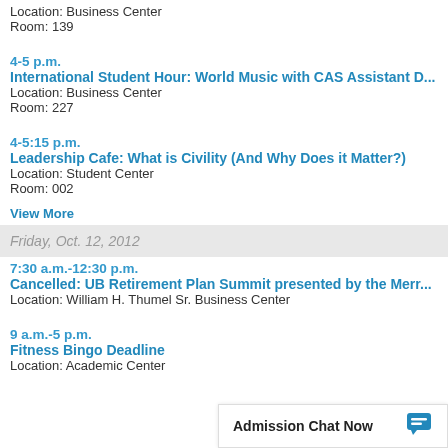Location: Business Center
Room: 139
4-5 p.m.
International Student Hour: World Music with CAS Assistant D...
Location: Business Center
Room: 227
4-5:15 p.m.
Leadership Cafe: What is Civility (And Why Does it Matter?)
Location: Student Center
Room: 002
View More
Friday, Oct. 12, 2012
7:30 a.m.-12:30 p.m.
Cancelled: UB Retirement Plan Summit presented by the Merr...
Location: William H. Thumel Sr. Business Center
9 a.m.-5 p.m.
Fitness Bingo Deadline
Location: Academic Center
Admission Chat Now